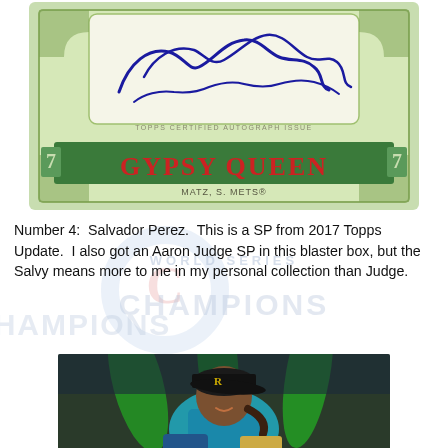[Figure (photo): Topps Gypsy Queen certified autograph card for Matz, S. of the Mets, showing a blue ink signature over a green ornate card design with 'GYPSY QUEEN' in large red letters and 'TOPPS CERTIFIED AUTOGRAPH ISSUE' text]
Number 4:  Salvador Perez.  This is a SP from 2017 Topps Update.  I also got an Aaron Judge SP in this blaster box, but the Salvy means more to me in my personal collection than Judge.
[Figure (photo): Photo of Salvador Perez in a teal/blue baseball uniform with a Royals 'R' on the helmet, smiling, with green decorative elements in the background]